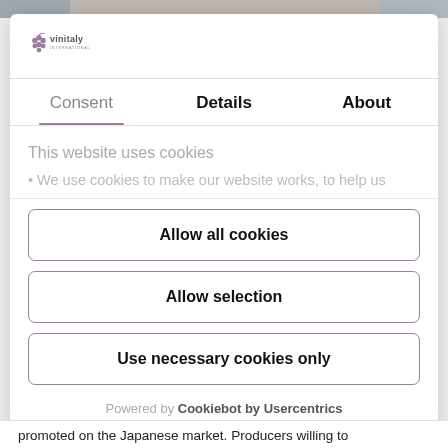[Figure (photo): Top cropped image strip of a website screenshot]
[Figure (logo): Vinitaly International logo with grape cluster icon]
Consent	Details	About
This website uses cookies
We use cookies to make our website works, to help us
Allow all cookies
Allow selection
Use necessary cookies only
Powered by Cookiebot by Usercentrics
promoted on the Japanese market. Producers willing to